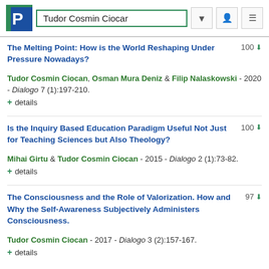Tudor Cosmin Ciocar
The Melting Point: How is the World Reshaping Under Pressure Nowadays?
Tudor Cosmin Ciocan, Osman Mura Deniz & Filip Nalaskowski - 2020 - Dialogo 7 (1):197-210.
+ details
Is the Inquiry Based Education Paradigm Useful Not Just for Teaching Sciences but Also Theology?
Mihai Girtu & Tudor Cosmin Ciocan - 2015 - Dialogo 2 (1):73-82.
+ details
The Consciousness and the Role of Valorization. How and Why the Self-Awareness Subjectively Administers Consciousness.
Tudor Cosmin Ciocan - 2017 - Dialogo 3 (2):157-167.
+ details